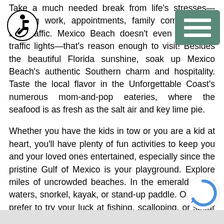Take a much needed break from life's stresses—juggling work, appointments, family commitments, and traffic. Mexico Beach doesn't even have any traffic lights—that's reason enough to visit! Besides the beautiful Florida sunshine, soak up Mexico Beach's authentic Southern charm and hospitality. Taste the local flavor in the Unforgettable Coast's numerous mom-and-pop eateries, where the seafood is as fresh as the salt air and key lime pie.
Whether you have the kids in tow or you are a kid at heart, you'll have plenty of fun activities to keep you and your loved ones entertained, especially since the pristine Gulf of Mexico is your playground. Explore miles of uncrowded beaches. In the emerald green waters, snorkel, kayak, or stand-up paddle. Or, if you prefer to try your luck at fishing, scalloping, or spear diving, Mexico Beach has some of the best ar... There's plenty to do on dry land too—how